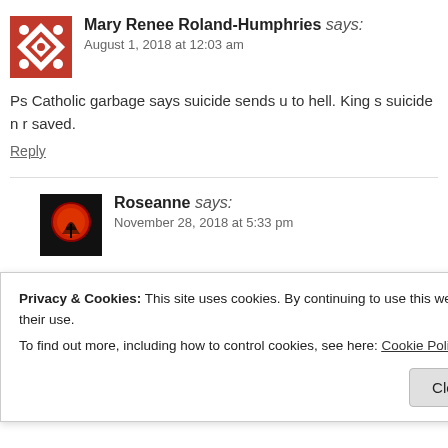Mary Renee Roland-Humphries says: August 1, 2018 at 12:03 am
Ps Catholic garbage says suicide sends u to hell. King s suicide n r saved.
Reply
Roseanne says: November 28, 2018 at 5:33 pm
Ezekiel 18 King James Version (KJV)
18 The word of the Lord came unto me again, saying,
Privacy & Cookies: This site uses cookies. By continuing to use this website, you agree to their use.
To find out more, including how to control cookies, see here: Cookie Policy
Close and accept